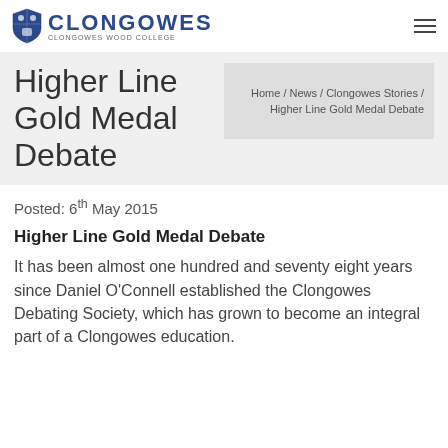CLONGOWES — CLONGOWES WOOD COLLEGE
Higher Line Gold Medal Debate
Home / News / Clongowes Stories / Higher Line Gold Medal Debate
Posted: 6th May 2015
Higher Line Gold Medal Debate
It has been almost one hundred and seventy eight years since Daniel O'Connell established the Clongowes Debating Society, which has grown to become an integral part of a Clongowes education.